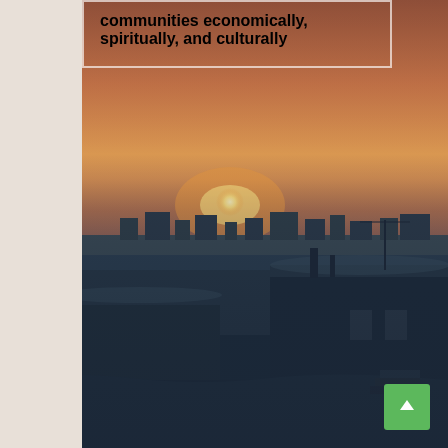[Figure (photo): Arctic or subarctic community at sunset/twilight in winter. Snow-covered buildings and flat tundra landscape with a vivid orange and red sunset sky on the horizon. Dark blue-toned foreground with snow-covered rooftops and structures in the foreground.]
communities economically, spiritually, and culturally